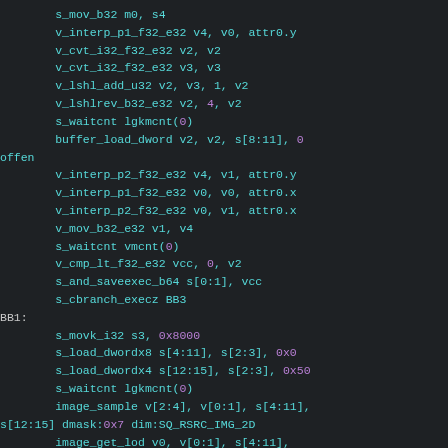Assembly/shader code listing showing GPU instructions including s_mov_b32, v_interp, v_cvt, v_lshl, s_waitcnt, buffer_load_dword, v_mov, v_cmp, s_and_saveexec, s_cbranch, s_movk, s_load_dword, image_sample, image_get_lod, s_andn2_b64, v_mov instructions with labels BB1, BB3, BB4